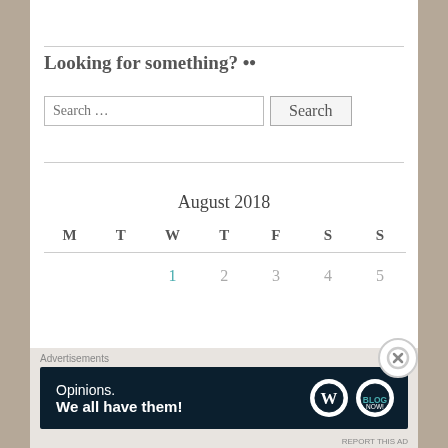Looking for something? ••
Search …
| M | T | W | T | F | S | S |
| --- | --- | --- | --- | --- | --- | --- |
|  |  | 1 | 2 | 3 | 4 | 5 |
August 2018
[Figure (screenshot): Advertisement banner: 'Opinions. We all have them!' with WordPress and another logo on dark navy background.]
Advertisements